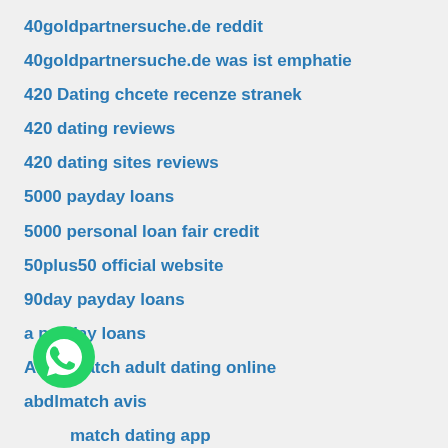40goldpartnersuche.de reddit
40goldpartnersuche.de was ist emphatie
420 Dating chcete recenze stranek
420 dating reviews
420 dating sites reviews
5000 payday loans
5000 personal loan fair credit
50plus50 official website
90day payday loans
a payday loans
ABDLMatch adult dating online
abdlmatch avis
abdlmatch dating app
abdlmatch pureB avis
ABDLmatch dating
[Figure (logo): WhatsApp green circle logo with phone handset icon]